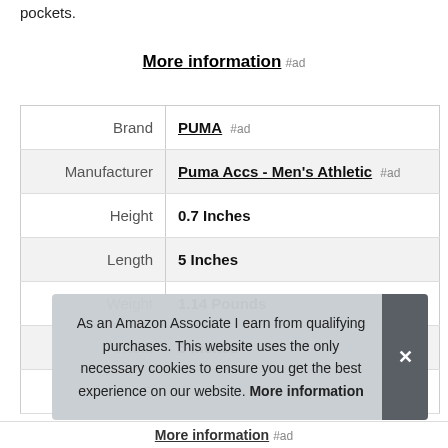pockets.
More information #ad
|  |  |
| --- | --- |
| Brand | PUMA #ad |
| Manufacturer | Puma Accs - Men's Athletic #ad |
| Height | 0.7 Inches |
| Length | 5 Inches |
| Weight | 1.14 Pounds |
| Width | 5 Inches |
| P |  |
As an Amazon Associate I earn from qualifying purchases. This website uses the only necessary cookies to ensure you get the best experience on our website. More information
More information #ad